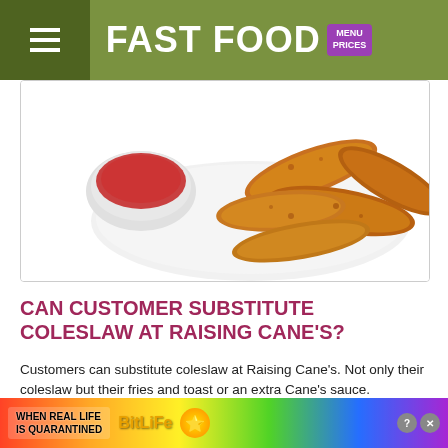FAST FOOD MENU PRICES
[Figure (photo): Fried chicken tenders on a white plate with a bowl of dipping sauce (ketchup/tomato sauce)]
CAN CUSTOMER SUBSTITUTE COLESLAW AT RAISING CANE'S?
Customers can substitute coleslaw at Raising Cane's. Not only their coleslaw but their fries and toast or an extra Cane's sauce.
CAN I USE APPLE PAY AT RAISING CANE'S?
Raising Cane's accepts the following forms of payment: cash, gift cards and credit cards including Visa, Mastercard, American Express and Discover. Location
[Figure (screenshot): BitLife advertisement banner: 'WHEN REAL LIFE IS QUARANTINED' with rainbow background and cartoon emoji character]